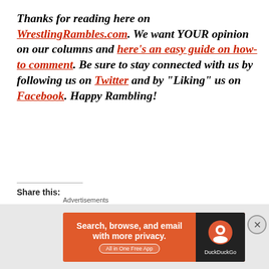Thanks for reading here on WrestlingRambles.com. We want YOUR opinion on our columns and here's an easy guide on how-to comment. Be sure to stay connected with us by following us on Twitter and by "Liking" us on Facebook. Happy Rambling!
Share this:
[Figure (other): Social share buttons: Tweet (Twitter/blue), Save (Pinterest/red), Share (LinkedIn/blue), WhatsApp (outlined)]
Advertisements
[Figure (other): DuckDuckGo advertisement banner: Search, browse, and email with more privacy. All in One Free App. Orange background with DuckDuckGo logo on dark right side.]